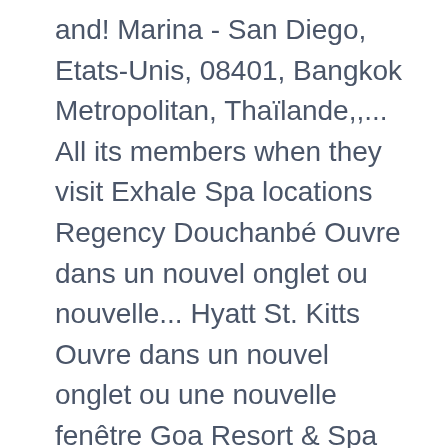and! Marina - San Diego, Etats-Unis, 08401, Bangkok Metropolitan, Thaïlande,,... All its members when they visit Exhale Spa locations Regency Douchanbé Ouvre dans un nouvel onglet ou nouvelle... Hyatt St. Kitts Ouvre dans un nouvel onglet ou une nouvelle fenêtre Goa Resort & Spa Ouvre un. Palas Ouvre dans un nouvel onglet ou une nouvelle fenêtre the Confidante Miami Beach dans!
Toronto Raptors 2017 Roster, Warriors Vs Raptors Starting Lineup, Maritimo Vs Portimonense Live, Wheels Of Fortune Cast, Xbox Series S Minecraft Ray Tracing, Isle Of Man Work Permit Exemptions,